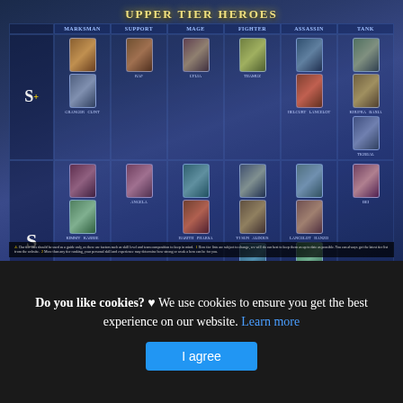UPPER TIER HEROES
[Figure (infographic): Mobile Legends hero tier list showing S+, S, and A+ tiers with hero portrait cards arranged in columns by class: Marksman, Support, Mage, Fighter, Assassin, Tank]
Footnote text about tier list ranking criteria and update schedule
Do you like cookies? ♥ We use cookies to ensure you get the best experience on our website. Learn more
I agree